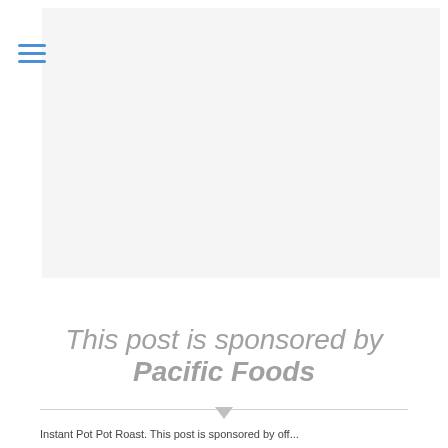[Figure (other): Navigation hamburger menu icon with three horizontal blue lines in top-left area]
[Figure (photo): Large light gray image/photo placeholder occupying the main card area of the page]
This post is sponsored by Pacific Foods
Instant Pot Pot Roast. This post is sponsored by off...